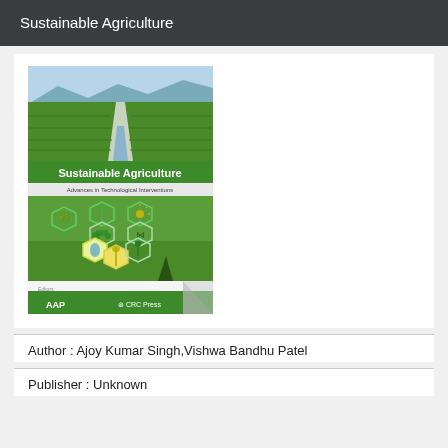Sustainable Agriculture
[Figure (photo): Book cover of 'Sustainable Agriculture: Advances in Technological Interventions' edited by Ajoy Kumar Singh and Vishwa Bandhu Patel, published by AAP and CRC Press. Cover shows a green rice field with a path, and hexagonal icons representing various agricultural technologies.]
Author : Ajoy Kumar Singh,Vishwa Bandhu Patel
Publisher : Unknown